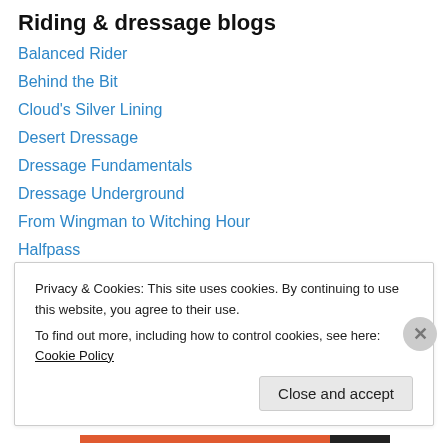Riding & dressage blogs
Balanced Rider
Behind the Bit
Cloud's Silver Lining
Desert Dressage
Dressage Fundamentals
Dressage Underground
From Wingman to Witching Hour
Halfpass
Janet Foy
Snarky Rider
SprinklerBandit
TB at X
Privacy & Cookies: This site uses cookies. By continuing to use this website, you agree to their use. To find out more, including how to control cookies, see here: Cookie Policy
Close and accept